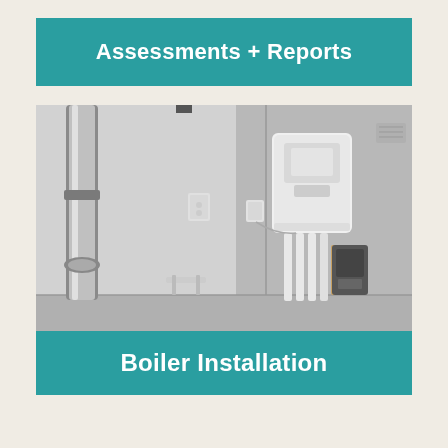Assessments + Reports
[Figure (photo): Photograph of a utility room interior showing a wall-mounted white boiler/water heater with multiple white pipes running vertically below it, a large grey vertical pipe on the left wall, electrical outlets on the concrete walls, and plumbing connections at the bottom. The room has bare concrete walls and floor.]
Boiler Installation